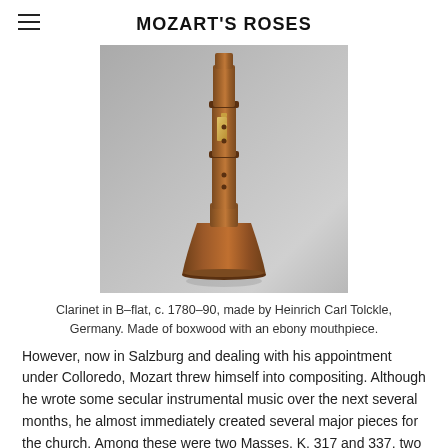MOZART'S ROSES
[Figure (photo): A clarinet in B-flat made of boxwood with a bell-shaped lower end, photographed against a gray background. The instrument is shown with its bell at the bottom and the upper part visible at the top of the image.]
Clarinet in B-flat, c. 1780–90, made by Heinrich Carl Tolckle, Germany. Made of boxwood with an ebony mouthpiece.
However, now in Salzburg and dealing with his appointment under Colloredo, Mozart threw himself into compositing. Although he wrote some secular instrumental music over the next several months, he almost immediately created several major pieces for the church. Among these were two Masses, K. 317 and 337, two Vespers services, K. 321 and 339, and two church sonatas, K. 328 and 329, along with some shorter